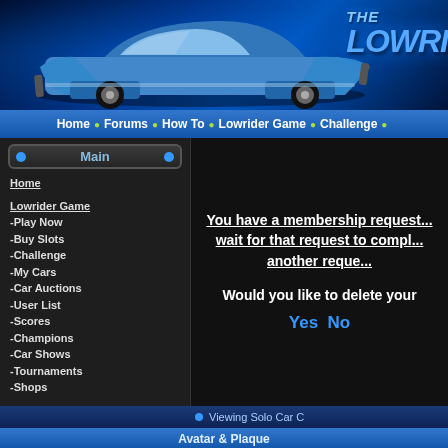[Figure (screenshot): Website banner with a blue lowrider car against a blue neon/light background, with THE LOWRI... logo text in the top right]
Home • Forums • How To • Lowrider Game • Challenge •
Main
Home
Lowrider Game
-Play Now
-Buy Slots
-Challenge
-My Cars
-Car Auctions
-User List
-Scores
-Champions
-Car Shows
-Tournaments
-Shops
Lowrider Games:
-Monte Carlo
-Expedition
-3D 57 Chevy
-2-Player Game
-Cadillac Hopper
-Cadillac Dancer
-Cutlass Hopper
-Regal Hopper
You have a membership request pending. You must wait for that request to complete before making another request.
Would you like to delete your
Yes  No
Viewing Solo Car C
Avatar & Plaque